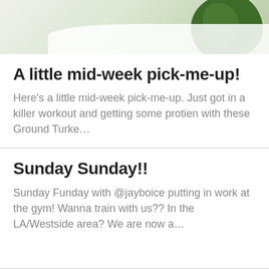[Figure (photo): Partial photo showing a plate with green vegetables/kale from above on a light background]
A little mid-week pick-me-up!
Here's a little mid-week pick-me-up. Just got in a killer workout and getting some protien with these Ground Turke…
Sunday Sunday!!
Sunday Funday with @jayboice putting in work at the gym! Wanna train with us?? In the LA/Westside area? We are now a…